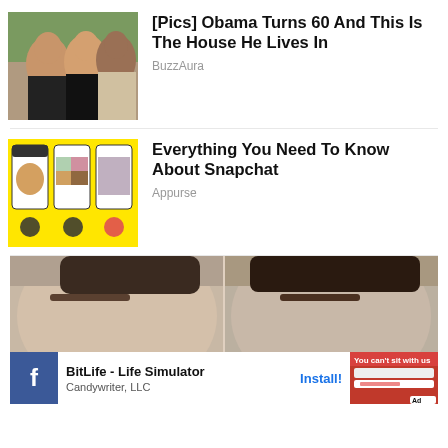[Figure (photo): Photo of three people (Obama family) posing together outdoors]
[Pics] Obama Turns 60 And This Is The House He Lives In
BuzzAura
[Figure (screenshot): Snapchat app screenshot with yellow background showing phone screens with app interface]
Everything You Need To Know About Snapchat
Appurse
[Figure (photo): Close-up photo of a person's face, split view, with an advertisement banner at the bottom for BitLife - Life Simulator by Candywriter, LLC with Install button]